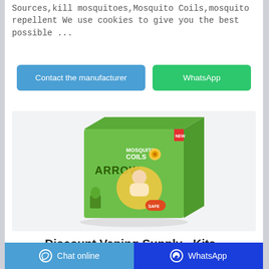Sources,kill mosquitoes,Mosquito Coils,mosquito repellent We use cookies to give you the best possible ...
Contact the manufacturer | WhatsApp
[Figure (photo): Product box of Arrow Mosquito Coils showing a baby on the packaging, green box design, on a white background]
Discount Vaping Supply - Kits -
Chat online | WhatsApp